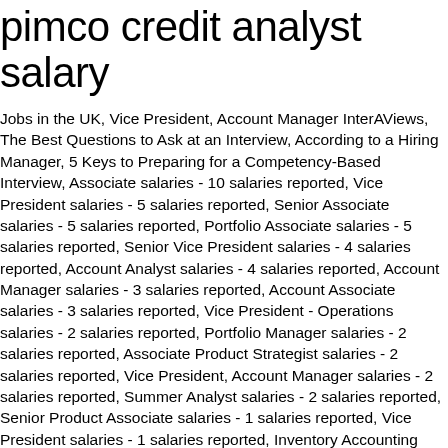pimco credit analyst salary
Jobs in the UK, Vice President, Account Manager InterAViews, The Best Questions to Ask at an Interview, According to a Hiring Manager, 5 Keys to Preparing for a Competency-Based Interview, Associate salaries - 10 salaries reported, Vice President salaries - 5 salaries reported, Senior Associate salaries - 5 salaries reported, Portfolio Associate salaries - 5 salaries reported, Senior Vice President salaries - 4 salaries reported, Account Analyst salaries - 4 salaries reported, Account Manager salaries - 3 salaries reported, Account Associate salaries - 3 salaries reported, Vice President - Operations salaries - 2 salaries reported, Portfolio Manager salaries - 2 salaries reported, Associate Product Strategist salaries - 2 salaries reported, Vice President, Account Manager salaries - 2 salaries reported, Summer Analyst salaries - 2 salaries reported, Senior Product Associate salaries - 1 salaries reported, Vice President salaries - 1 salaries reported, Inventory Accounting Analyst salaries - 1 salaries reported, Senior Middle Office Analyst salaries - 1 salaries reported, Account Analyst salaries - 1 salaries reported, Administrative Assistant salaries - 1 salaries reported, Business Development Associate salaries (£25k). Apply to Accounts Assistant, Credit Analyst, Operations Associate and more! Apply to the